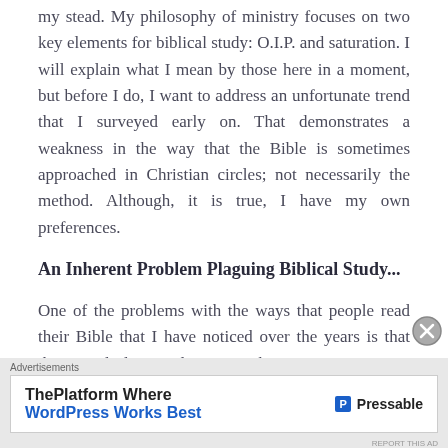my stead. My philosophy of ministry focuses on two key elements for biblical study: O.I.P. and saturation. I will explain what I mean by those here in a moment, but before I do, I want to address an unfortunate trend that I surveyed early on. That demonstrates a weakness in the way that the Bible is sometimes approached in Christian circles; not necessarily the method. Although, it is true, I have my own preferences.
An Inherent Problem Plaguing Biblical Study...
One of the problems with the ways that people read their Bible that I have noticed over the years is that they give little consideration to the
Advertisements
[Figure (infographic): Advertisement banner for Pressable: 'ThePlatform Where WordPress Works Best' with Pressable logo]